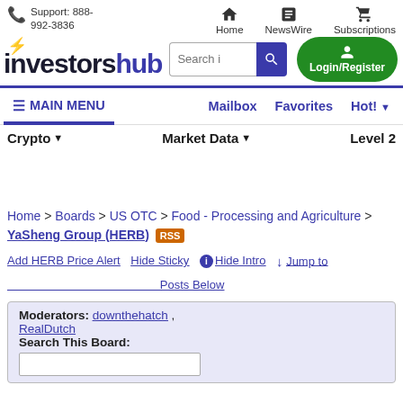Support: 888-992-3836 | Home | NewsWire | Subscriptions
[Figure (logo): InvestorsHub logo with lightning bolt icon]
MAIN MENU | Mailbox | Favorites | Hot!
Crypto | Market Data | Level 2
Home > Boards > US OTC > Food - Processing and Agriculture > YaSheng Group (HERB) RSS
Add HERB Price Alert  Hide Sticky  Hide Intro  Jump to Posts Below
Moderators: downthehatch , RealDutch
Search This Board: